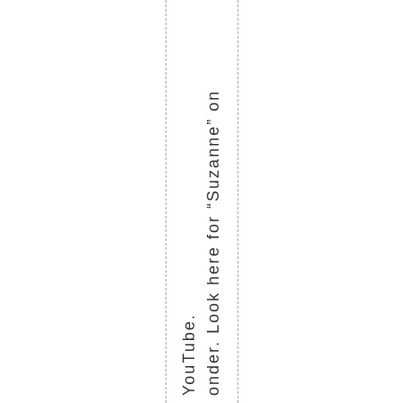onder. Look here for “Suzanne” on YouTube.